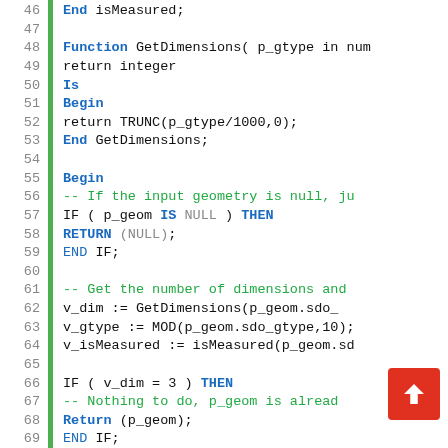[Figure (screenshot): Source code listing in PL/SQL style, lines 46-75, showing functions GetDimensions, isMeasured, Begin block with IF conditions and variable assignments. Syntax highlighted with blue keywords, green comments, and monospace font.]